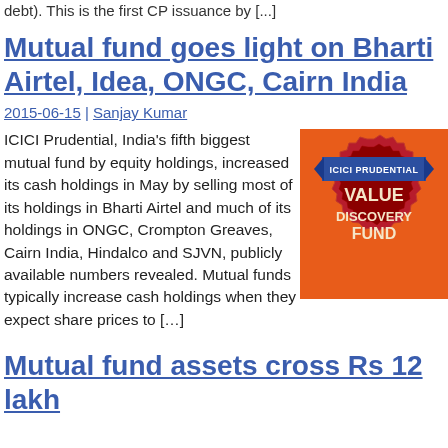debt). This is the first CP issuance by [...]
Mutual fund goes light on Bharti Airtel, Idea, ONGC, Cairn India
2015-06-15 | Sanjay Kumar
[Figure (photo): ICICI Prudential Value Discovery Fund logo badge — red seal on orange background with blue ribbon banner]
ICICI Prudential, India’s fifth biggest mutual fund by equity holdings, increased its cash holdings in May by selling most of its holdings in Bharti Airtel and much of its holdings in ONGC, Crompton Greaves, Cairn India, Hindalco and SJVN, publicly available numbers revealed. Mutual funds typically increase cash holdings when they expect share prices to […]
Mutual fund assets cross Rs 12 lakh